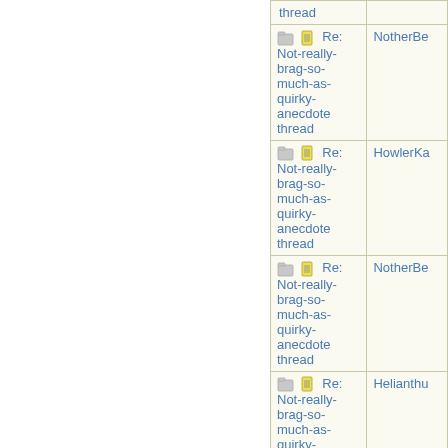| Subject | Author |
| --- | --- |
| thread |  |
| Re: Not-really-brag-so-much-as-quirky-anecdote thread | NotherBe |
| Re: Not-really-brag-so-much-as-quirky-anecdote thread | HowlerKa |
| Re: Not-really-brag-so-much-as-quirky-anecdote thread | NotherBe |
| Re: Not-really-brag-so-much-as-quirky-anecdote thread | Helianthu |
| Re: Not-really-brag-so-much-as-quirky-anecdote thread | Lovemyd |
| Re: Not-really-brag-so-much-as-quirky-anecdote thread | DeeDee |
| Re: Not-really-... |  |